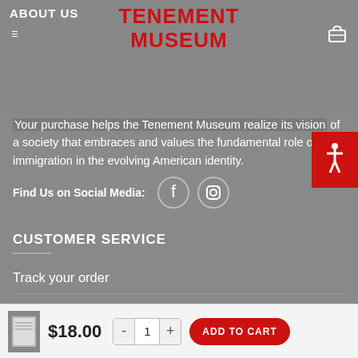ABOUT US
TENEMENT MUSEUM
Your purchase helps the Tenement Museum realize its vision of a society that embraces and values the fundamental role of immigration in the evolving American identity.
Find Us on Social Media:
CUSTOMER SERVICE
Track your order
Shipping
Returns & Exchange
Privacy Policy
$18.00
ADD TO CART